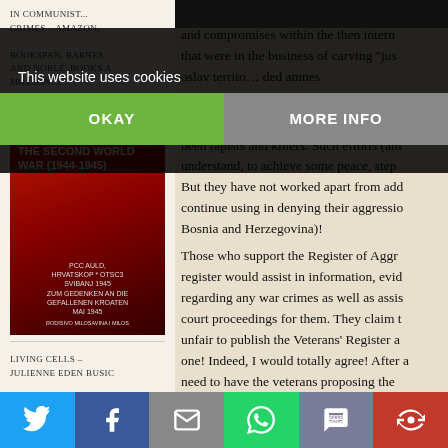IN COMMUNIST... CRIMES – AMAZON, BOOKSPAN, BARNES AND NOBLE. BOOKS A MILLION ...
[Figure (photo): Book cover: Croatia and Slovenia at the End and After the Second World War (1944-1945) by Slaven Rako]
LIVING CELLS – JULIENNE EDEN BUSIC
Franjo Tudjman, in late 1990 s, made some compromises within the then international community that were in the business of carving "just" Yugos lav territory... extended amnesty rebellion against Croatia to thousands of who participated in the aggression against Croatia and many been rapists and killers. Such efforts (am understand, to achieve some peace, step... But they have not worked apart from adding continue using in denying their aggressio Bosnia and Herzegovina)! Those who support the Register of Aggressors register would assist in information, evidence regarding any war crimes as well as assisting court proceedings for them. They claim that it is unfair to publish the Veterans' Register and not one! Indeed, I would totally agree! After all, we need to have the veterans proposing the...
This website uses cookies
OKAY
MORE INFO